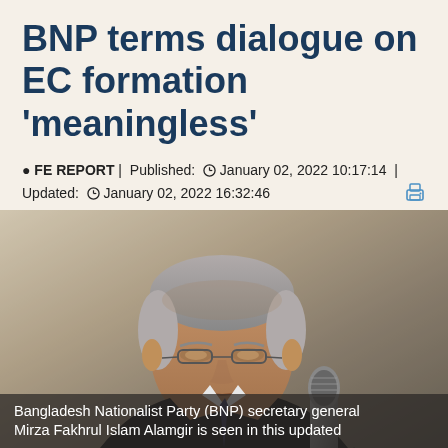BNP terms dialogue on EC formation 'meaningless'
FE REPORT | Published: January 02, 2022 10:17:14 | Updated: January 02, 2022 16:32:46
[Figure (photo): Photo of Bangladesh Nationalist Party (BNP) secretary general Mirza Fakhrul Islam Alamgir speaking at a microphone]
Bangladesh Nationalist Party (BNP) secretary general Mirza Fakhrul Islam Alamgir is seen in this updated